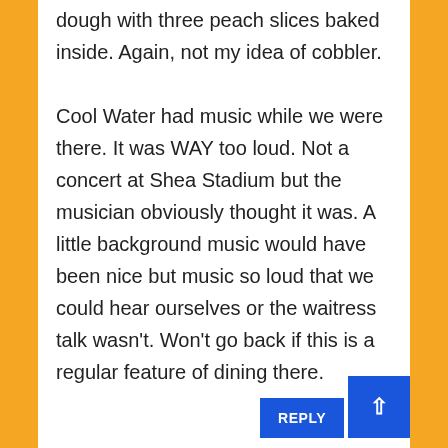dough with three peach slices baked inside. Again, not my idea of cobbler. Cool Water had music while we were there. It was WAY too loud. Not a concert at Shea Stadium but the musician obviously thought it was. A little background music would have been nice but music so loud that we could hear ourselves or the waitress talk wasn't. Won't go back if this is a regular feature of dining there.